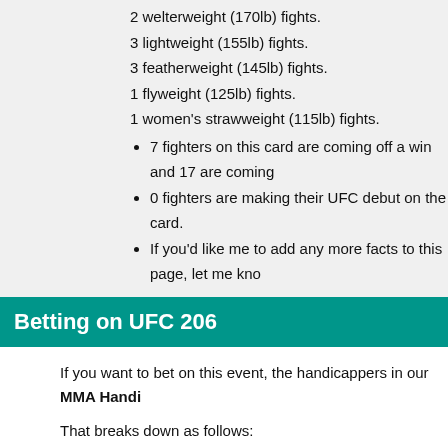2 welterweight (170lb) fights.
3 lightweight (155lb) fights.
3 featherweight (145lb) fights.
1 flyweight (125lb) fights.
1 women's strawweight (115lb) fights.
7 fighters on this card are coming off a win and 17 are coming…
0 fighters are making their UFC debut on the card.
If you'd like me to add any more facts to this page, let me know…
Betting on UFC 206
If you want to bet on this event, the handicappers in our MMA Handi…
That breaks down as follows:
250 free betting tips for UFC 206 (174 straight fight picks, 41 parla…
60 paid betting tips for UFC 206 (57 straight fight picks, 0 parlays a…
Full fight card for UFC 206
The full fight card is as follows:
[Figure (photo): Photo of a UFC fighter, cropped at bottom of page. Beside it are social media / rating icons and partial text 'Anth…']